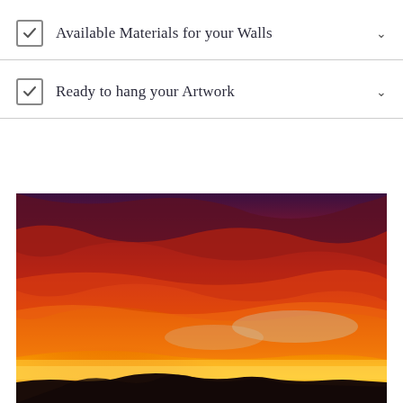Available Materials for your Walls
Ready to hang your Artwork
[Figure (photo): A dramatic sunset photograph showing vivid orange, red, and purple clouds in a wide sky, with a dark mountain silhouette along the bottom horizon.]